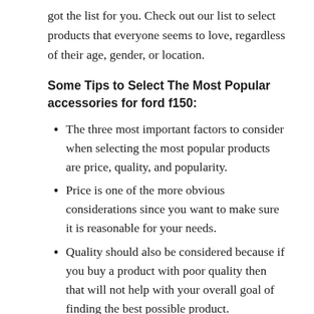got the list for you. Check out our list to select products that everyone seems to love, regardless of their age, gender, or location.
Some Tips to Select The Most Popular accessories for ford f150:
The three most important factors to consider when selecting the most popular products are price, quality, and popularity.
Price is one of the more obvious considerations since you want to make sure it is reasonable for your needs.
Quality should also be considered because if you buy a product with poor quality then that will not help with your overall goal of finding the best possible product.